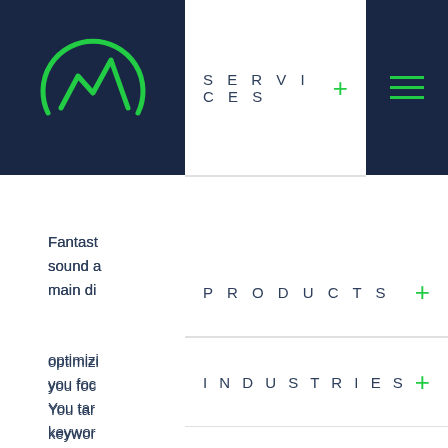[Figure (logo): Mountain/waveform logo in green on dark navy background, partially visible]
SERVICES
Fantast
sound a
main di
PRODUCTS
optimizi
you foc
You tar
keywor
INDUSTRIES
PRICING
How Do
So how
ABOUT
Here ar